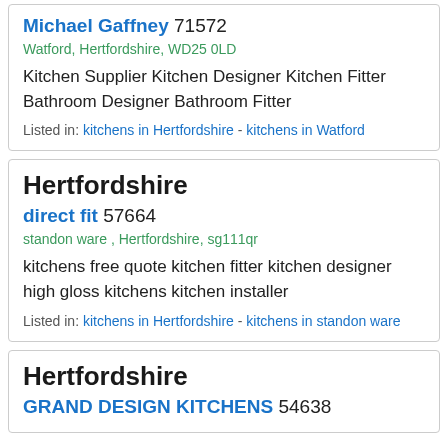Michael Gaffney 71572
Watford, Hertfordshire, WD25 0LD
Kitchen Supplier Kitchen Designer Kitchen Fitter Bathroom Designer Bathroom Fitter
Listed in: kitchens in Hertfordshire - kitchens in Watford
Hertfordshire
direct fit 57664
standon ware , Hertfordshire, sg111qr
kitchens free quote kitchen fitter kitchen designer high gloss kitchens kitchen installer
Listed in: kitchens in Hertfordshire - kitchens in standon ware
Hertfordshire
GRAND DESIGN KITCHENS 54638